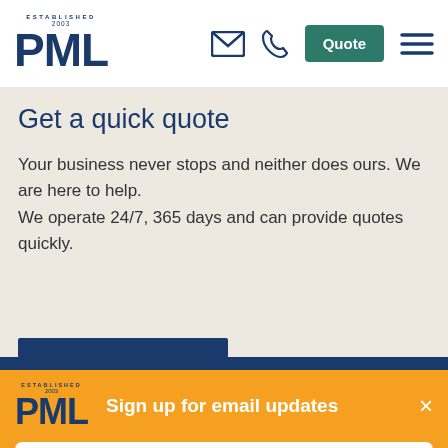[Figure (logo): PML company logo with 'ESTABLISHED 2003' arc text above large bold PML letters in dark navy blue]
[Figure (logo): Email envelope icon, phone/handset icon, teal Quote button, and hamburger menu icon in the header navigation]
Get a quick quote
Your business never stops and neither does ours. We are here to help. We operate 24/7, 365 days and can provide quotes quickly.
[Figure (logo): PML logo on orange banner background - ESTABLISHED 2003 arc above bold PML in dark navy]
Sign up for email updates
Subscribe now